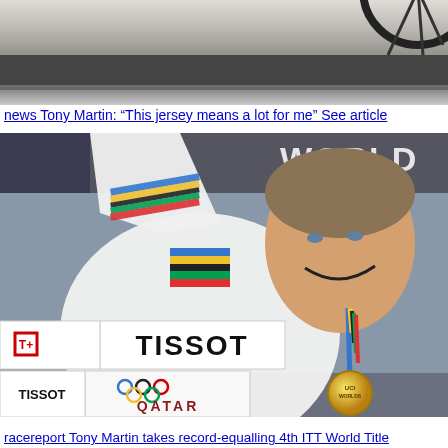[Figure (photo): Top portion of a photo showing a cycling podium scene with a dark metal barrier and grey/beige outdoor background]
news Tony Martin: “This jersey means a lot for me” See article
[Figure (photo): Tony Martin wearing the UCI rainbow jersey (World Champion) with arm raised on the podium, smiling, wearing a gold medal. Tissot and Qatar Olympic signs visible in the background.]
racereport Tony Martin takes record-equalling 4th ITT World Title